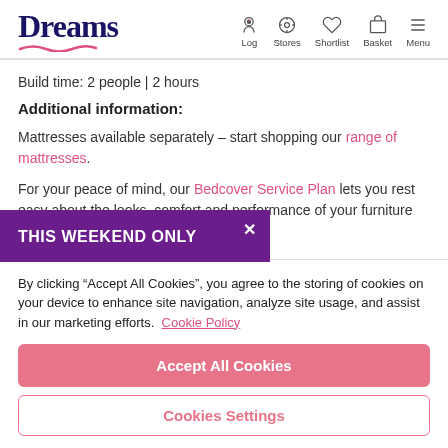Dreams | Log | Stores | Shortlist | Basket | Menu
Build time: 2 people | 2 hours
Additional information:
Mattresses available separately – start shopping our range of mattresses.
For your peace of mind, our Bedcover Service Plan lets you rest easy about the looks, comfort and performance rniture with cover of up to
THIS WEEKEND ONLY
By clicking "Accept All Cookies", you agree to the storing of cookies on your device to enhance site navigation, analyze site usage, and assist in our marketing efforts. Cookie Policy
Accept All Cookies
Cookies Settings